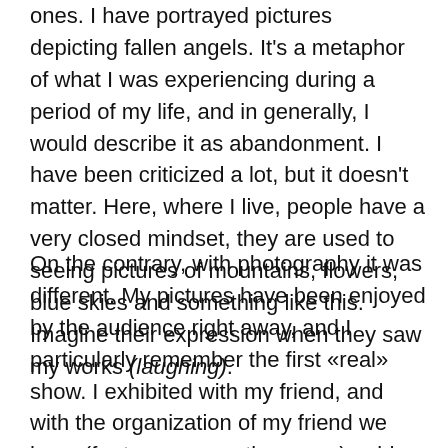ones. I have portrayed pictures depicting fallen angels. It's a metaphor of what I was experiencing during a period of my life, and in generally, I would describe it as abandonment. I have been criticized a lot, but it doesn't matter. Here, where I live, people have a very closed mindset, they are used to seeing pictures of mountains, flowers, blue skies and something like this. Imagine their expression when they saw my works (laughing).
On the contrary, with photography it was different. My pictures have been enjoyed by the audience right away, and I particularly remember the first «real» show. I exhibited with my friend, and with the organization of my friend we have (for two consecutive years) paid homage to a Milan poet Alda Merini (she was locked in a madhouse). The first «Camere Oscure» ("Dark Room" in English) exhibition was the place where the